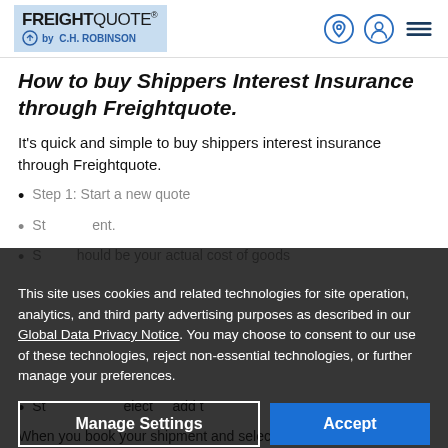FREIGHTQUOTE by C.H. ROBINSON
How to buy Shippers Interest Insurance through Freightquote.
It's quick and simple to buy shippers interest insurance through Freightquote.
Step 1: Start a new quote
Step 2: ...ment.
Step 3: ...hould be your actual cost of goods
This site uses cookies and related technologies for site operation, analytics, and third party advertising purposes as described in our Global Data Privacy Notice. You may choose to consent to our use of these technologies, reject non-essential technologies, or further manage your preferences.
Step 4: Select... add t...
When you book your shipment and select your quote,